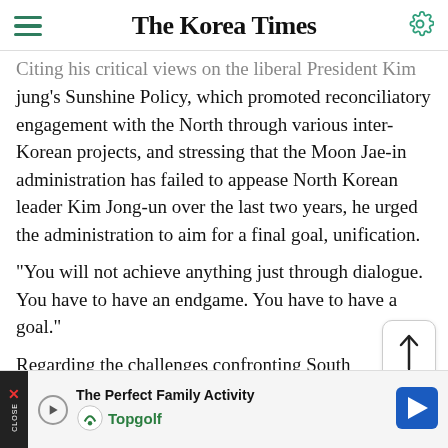The Korea Times
Citing his critical views on the liberal President Kim Dae jung's Sunshine Policy, which promoted reconciliatory engagement with the North through various inter-Korean projects, and stressing that the Moon Jae-in administration has failed to appease North Korean leader Kim Jong-un over the last two years, he urged the administration to aim for a final goal, unification.
"You will not achieve anything just through dialogue. You have to have an endgame. You have to have a goal."
Regarding the challenges confronting South Koreans, he urged them to face reality but dream about unification.
"Many Koreans...
[Figure (screenshot): Advertisement banner for Topgolf - The Perfect Family Activity]